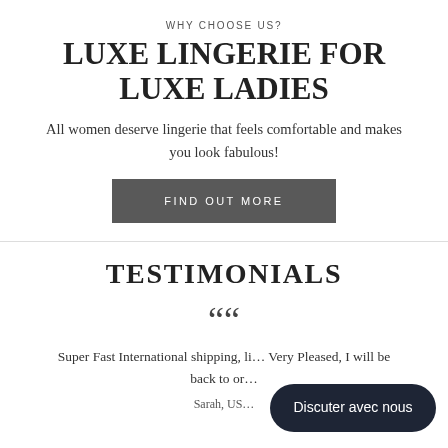WHY CHOOSE US?
LUXE LINGERIE FOR LUXE LADIES
All women deserve lingerie that feels comfortable and makes you look fabulous!
FIND OUT MORE
TESTIMONIALS
““
Super Fast International shipping, li... Very Pleased, I will be back to or...
Discuter avec nous
Sarah, US...